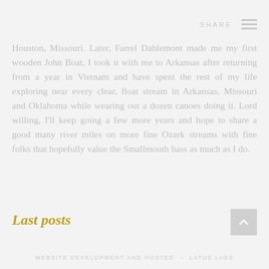SHARE ≡
Houston, Missouri. Later, Farrel Dablemont made me my first wooden John Boat, I took it with me to Arkansas after returning from a year in Vietnam and have spent the rest of my life exploring near every clear, float stream in Arkansas, Missouri and Oklahoma while wearing out a dozen canoes doing it. Lord willing, I'll keep going a few more years and hope to share a good many river miles on more fine Ozark streams with fine folks that hopefully value the Smallmouth bass as much as I do.
Last posts
WEBSITE DEVELOPMENT AND HOSTED - LATUS LABS